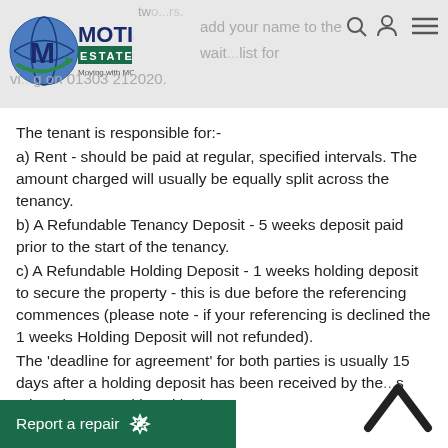two...rs. add your name to the wait...list for vi...g on 01303 212020.
[Figure (logo): Motis Estates logo - globe with M, green banner reading ESTATES, tagline Moving with MOTIS]
The tenant is responsible for:-
a) Rent - should be paid at regular, specified intervals. The amount charged will usually be equally split across the tenancy.
b) A Refundable Tenancy Deposit - 5 weeks deposit paid prior to the start of the tenancy.
c) A Refundable Holding Deposit - 1 weeks holding deposit to secure the property - this is due before the referencing commences (please note - if your referencing is declined the 1 weeks Holding Deposit will not refunded).
The 'deadline for agreement' for both parties is usually 15 days after a holding deposit has been received by the...s otherwise agreed in writing).
d) Default Fees - Late payment of rent over 14 days
Report a repair